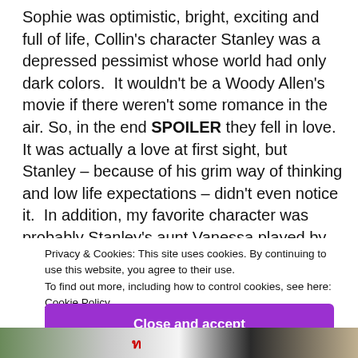Sophie was optimistic, bright, exciting and full of life, Collin's character Stanley was a depressed pessimist whose world had only dark colors.  It wouldn't be a Woody Allen's movie if there weren't some romance in the air. So, in the end SPOILER they fell in love. It was actually a love at first sight, but Stanley – because of his grim way of thinking and low life expectations – didn't even notice it.  In addition, my favorite character was probably Stanley's aunt Vanessa played by Eileen
Privacy & Cookies: This site uses cookies. By continuing to use this website, you agree to their use.
To find out more, including how to control cookies, see here:
Cookie Policy
Close and accept
[Figure (photo): A horizontal strip of partial photos at the bottom of the page showing various people/scenes.]